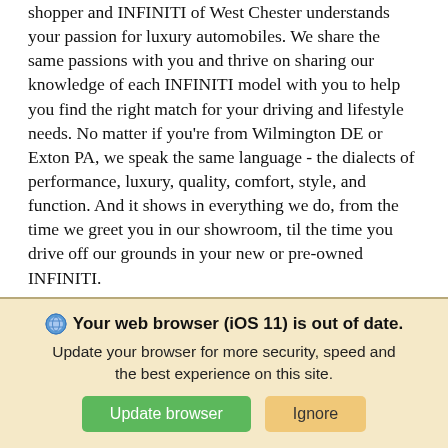shopper and INFINITI of West Chester understands your passion for luxury automobiles. We share the same passions with you and thrive on sharing our knowledge of each INFINITI model with you to help you find the right match for your driving and lifestyle needs. No matter if you're from Wilmington DE or Exton PA, we speak the same language - the dialects of performance, luxury, quality, comfort, style, and function. And it shows in everything we do, from the time we greet you in our showroom, til the time you drive off our grounds in your new or pre-owned INFINITI.
INFINITI of West Chester is conveniently located at 1265 Wilmington Pike in West Chester Pennsylvania, surrounded by scenic country roads with sweeping
Your web browser (iOS 11) is out of date. Update your browser for more security, speed and the best experience on this site.